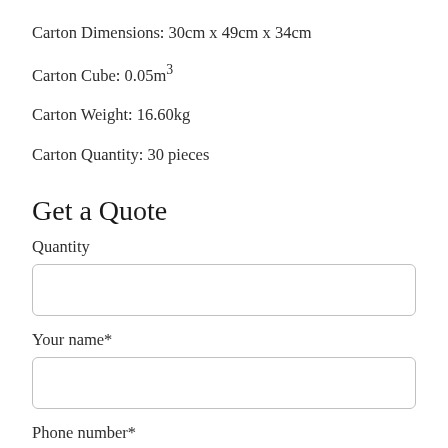Carton Dimensions: 30cm x 49cm x 34cm
Carton Cube: 0.05m³
Carton Weight: 16.60kg
Carton Quantity: 30 pieces
Get a Quote
Quantity
Your name*
Phone number*